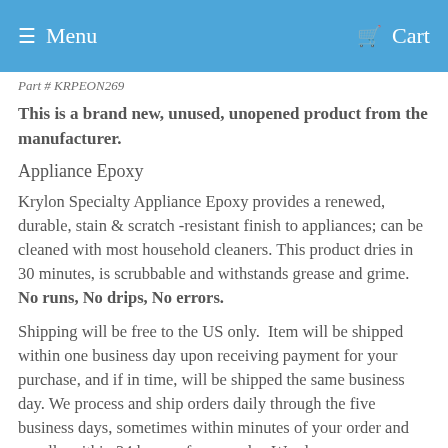Menu   Cart
Part # KRPEON269
This is a brand new, unused, unopened product from the manufacturer.
Appliance Epoxy
Krylon Specialty Appliance Epoxy provides a renewed, durable, stain & scratch -resistant finish to appliances; can be cleaned with most household cleaners. This product dries in 30 minutes, is scrubbable and withstands grease and grime. No runs, No drips, No errors.
Shipping will be free to the US only.  Item will be shipped within one business day upon receiving payment for your purchase, and if in time, will be shipped the same business day. We process and ship orders daily through the five business days, sometimes within minutes of your order and usually within 24 hours of your order. We also